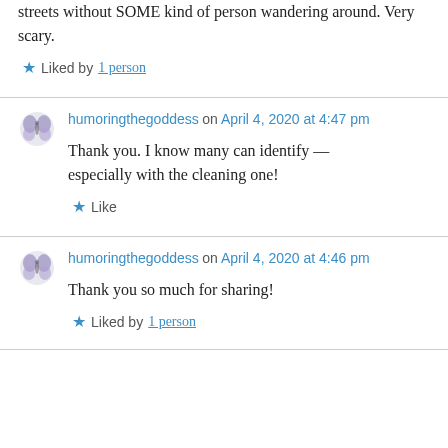streets without SOME kind of person wandering around. Very scary.
★ Liked by 1 person
humoringthegoddess on April 4, 2020 at 4:47 pm
Thank you. I know many can identify — especially with the cleaning one!
★ Like
humoringthegoddess on April 4, 2020 at 4:46 pm
Thank you so much for sharing!
★ Liked by 1 person